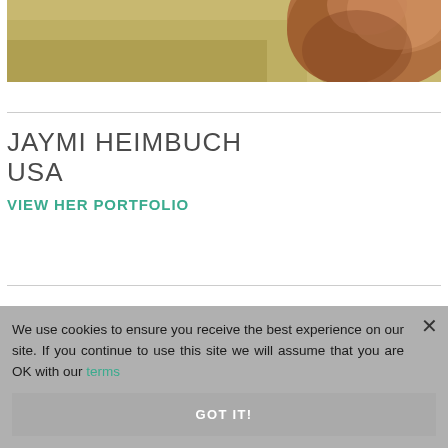[Figure (photo): Partial view of a large animal (likely a bison or bear) with brown fur against a blurred golden grassland background]
JAYMI HEIMBUCH
USA
VIEW HER PORTFOLIO
We use cookies to ensure you receive the best experience on our site. If you continue to use this site we will assume that you are OK with our terms
GOT IT!